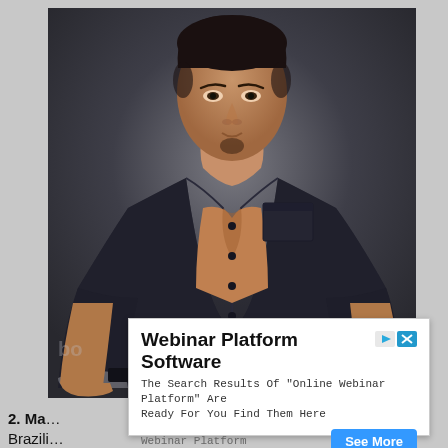[Figure (photo): Male model in a dark denim shirt, open at chest, hands on hips, posing against a dark grey background. Watermark text partially visible at bottom left and right.]
Webinar Platform Software
The Search Results Of "Online Webinar Platform" Are Ready For You Find Them Here
Webinar Platform
See More
2. Ma...
Brazili...